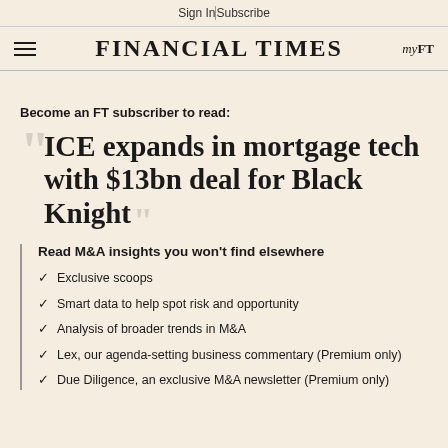Sign In | Subscribe
FINANCIAL TIMES  myFT
Become an FT subscriber to read:
ICE expands in mortgage tech with $13bn deal for Black Knight
Read M&A insights you won't find elsewhere
Exclusive scoops
Smart data to help spot risk and opportunity
Analysis of broader trends in M&A
Lex, our agenda-setting business commentary (Premium only)
Due Diligence, an exclusive M&A newsletter (Premium only)